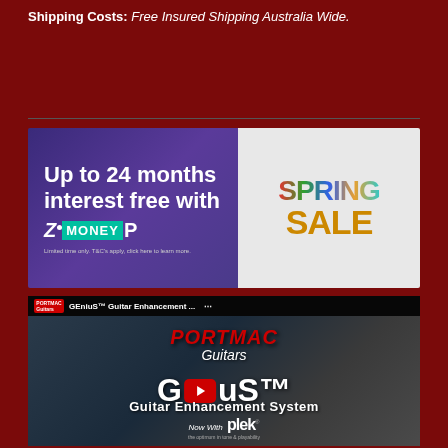Shipping Costs: Free Insured Shipping Australia Wide.
[Figure (infographic): Advertisement banner: 'Up to 24 months interest free with ZipMoney P' on left purple background, 'Spring Sale' colorful text on right white background]
[Figure (screenshot): YouTube video thumbnail for 'GEniuS Guitar Enhancement System' by Portmac Guitars, showing the GEniuS logo with YouTube play button, 'Guitar Enhancement System' text, and 'Now With Plek' branding at the bottom]